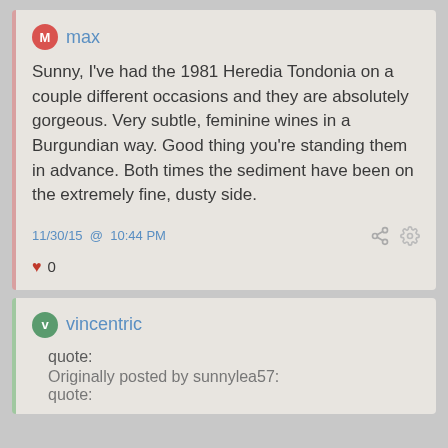max
Sunny, I've had the 1981 Heredia Tondonia on a couple different occasions and they are absolutely gorgeous. Very subtle, feminine wines in a Burgundian way. Good thing you're standing them in advance. Both times the sediment have been on the extremely fine, dusty side.
11/30/15 @ 10:44 PM
0
vincentric
quote:
Originally posted by sunnylea57:
quote: